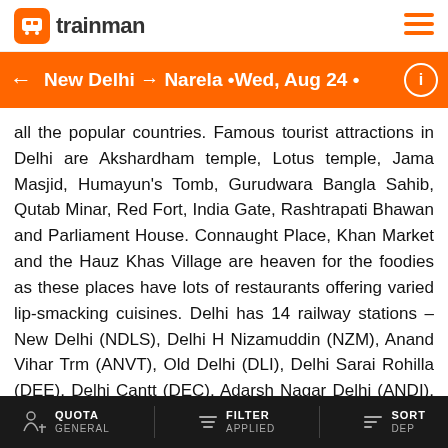trainman
New Delhi → Narela •Wed, Aug 24 •
all the popular countries. Famous tourist attractions in Delhi are Akshardham temple, Lotus temple, Jama Masjid, Humayun's Tomb, Gurudwara Bangla Sahib, Qutab Minar, Red Fort, India Gate, Rashtrapati Bhawan and Parliament House. Connaught Place, Khan Market and the Hauz Khas Village are heaven for the foodies as these places have lots of restaurants offering varied lip-smacking cuisines. Delhi has 14 railway stations – New Delhi (NDLS), Delhi H Nizamuddin (NZM), Anand Vihar Trm (ANVT), Old Delhi (DLI), Delhi Sarai Rohilla (DEE), Delhi Cantt (DEC), Adarsh Nagar Delhi (ANDI), Subzi Mandi (SZM), Delhi Shahdara (DSA), Delhi Kishanganj (DKZ), Delhi Azadpur (DAZ), Delhi Sadar Bazar (DSB), Delhi Safdarjung (DSJ) and Delhi Mg (DE).
QUOTA GENERAL | FILTER APPLIED | SORT DEP